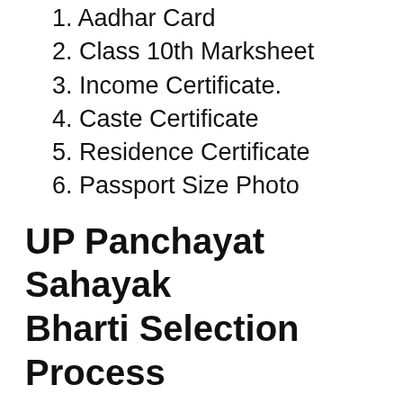1. Aadhar Card
2. Class 10th Marksheet
3. Income Certificate.
4. Caste Certificate
5. Residence Certificate
6. Passport Size Photo
UP Panchayat Sahayak Bharti Selection Process
Selection Process:- In UP Panchayat Assistant Recruitment, first of all applications will be given in offline mode after which merit list will be issued for the students shortly after this merit list is without the basis of